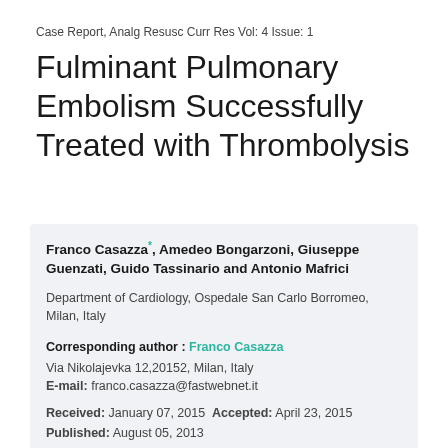Case Report, Analg Resusc Curr Res Vol: 4 Issue: 1
Fulminant Pulmonary Embolism Successfully Treated with Thrombolysis
Franco Casazza*, Amedeo Bongarzoni, Giuseppe Guenzati, Guido Tassinario and Antonio Mafrici
Department of Cardiology, Ospedale San Carlo Borromeo, Milan, Italy
Corresponding author : Franco Casazza
Via Nikolajevka 12,20152, Milan, Italy
E-mail: franco.casazza@fastwebnet.it
Received: January 07, 2015 Accepted: April 23, 2015
Published: August 05, 2013
Citation: Casazza F, Bongarzoni A, Guenzati G, Tassinario G,